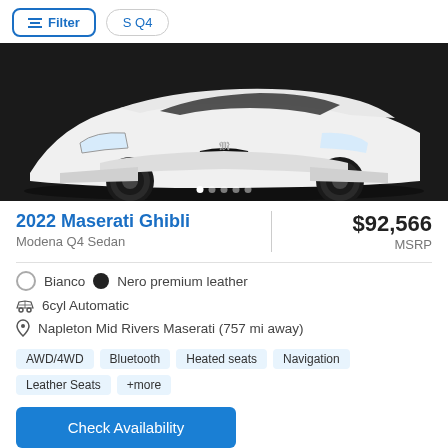Filter  S Q4
[Figure (photo): Front view of a white 2022 Maserati Ghibli sports sedan on a dark background, showing the front grille, bumper, and wheels. Image carousel with 5 dot indicators at the bottom.]
2022 Maserati Ghibli
Modena Q4 Sedan
$92,566 MSRP
Bianco  Nero premium leather
6cyl Automatic
Napleton Mid Rivers Maserati (757 mi away)
AWD/4WD
Bluetooth
Heated seats
Navigation
Leather Seats
+more
Check Availability